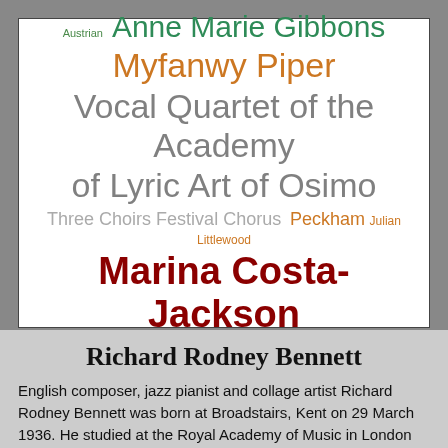[Figure (infographic): Word cloud featuring names associated with Richard Rodney Bennett: 'Austrian', 'Anne Marie Gibbons', 'Myfanwy Piper', 'Vocal Quartet of the Academy of Lyric Art of Osimo', 'Three Choirs Festival Chorus', 'Peckham', 'Julian Littlewood', 'Marina Costa-Jackson' in various colors and sizes on a white background with a border.]
Richard Rodney Bennett
English composer, jazz pianist and collage artist Richard Rodney Bennett was born at Broadstairs, Kent on 29 March 1936. He studied at the Royal Academy of Music in London with Howard Ferguson and Lennox Berkeley. Exposed to